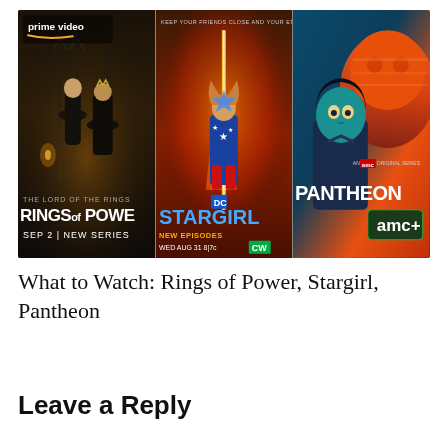[Figure (illustration): Three TV show promotional posters side by side: 1) Amazon Prime Video 'The Lord of the Rings: Rings of Power' - dark gothic fantasy with robed figures, Sep 2 New Series. 2) DC 'Stargirl' - superhero in star-spangled costume with glowing staff, New Episodes Wed Aug 31 8|7c CW. 3) AMC+ 'Pantheon' - animated series showing stylized profile of a figure with orange/teal color scheme, An AMC+ Original Series.]
What to Watch: Rings of Power, Stargirl, Pantheon
Leave a Reply